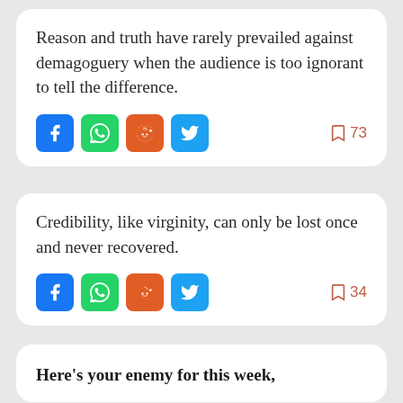Reason and truth have rarely prevailed against demagoguery when the audience is too ignorant to tell the difference.
73
Credibility, like virginity, can only be lost once and never recovered.
34
Here's your enemy for this week,